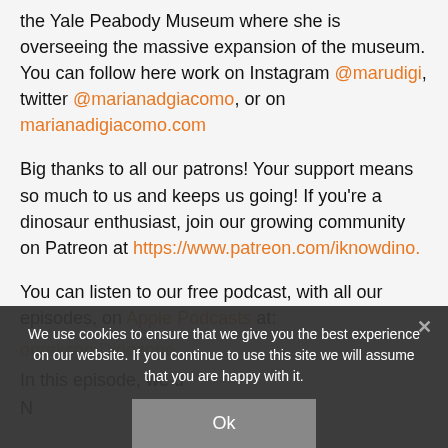the Yale Peabody Museum where she is overseeing the massive expansion of the museum. You can follow here work on Instagram @marudigi, twitter @marianadgiacomo, or on marianadigiacomo.com
Big thanks to all our patrons! Your support means so much to us and keeps us going! If you're a dinosaur enthusiast, join our growing community on Patreon at https://www.patreon.com/iknowdino.
You can listen to our free podcast, with all our episodes, on Apple Podcasts at:
In this episode, we d[obscured by cookie banner]
N[obscured]
We use cookies to ensure that we give you the best experience on our website. If you continue to use this site we will assume that you are happy with it.